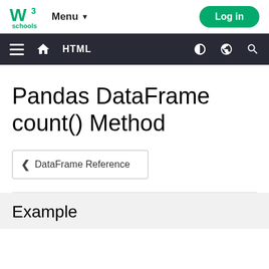[Figure (logo): W3Schools logo with green W3 and 'schools' text]
Menu ▾
Log in
HTML
Pandas DataFrame count() Method
❮ DataFrame Reference
Example